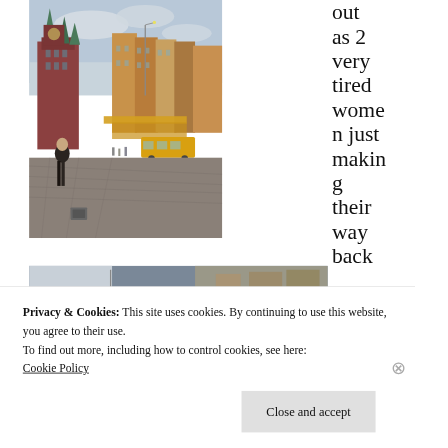[Figure (photo): Street-level photograph of a European city square (likely Wrocław, Poland). Cobblestone plaza with historic buildings including a red Gothic town hall with green spires on the left, colorful merchant buildings lining the street, pedestrians walking, outdoor market stalls with yellow awnings, a yellow tram, and overcast sky.]
out as 2 very tired women just making their way back
[Figure (photo): Partial view of a second photograph, partially obscured by cookie banner overlay.]
Privacy & Cookies: This site uses cookies. By continuing to use this website, you agree to their use.
To find out more, including how to control cookies, see here: Cookie Policy
Close and accept